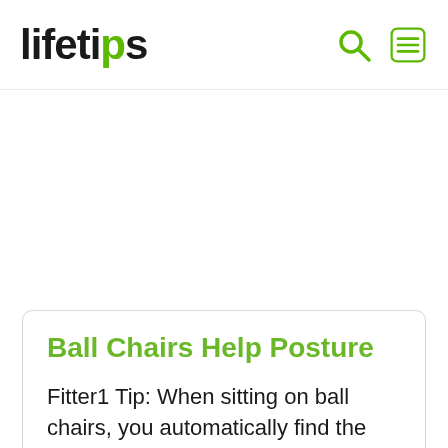lifetips
Ball Chairs Help Posture
Fitter1 Tip: When sitting on ball chairs, you automatically find the most efficient way to balance so